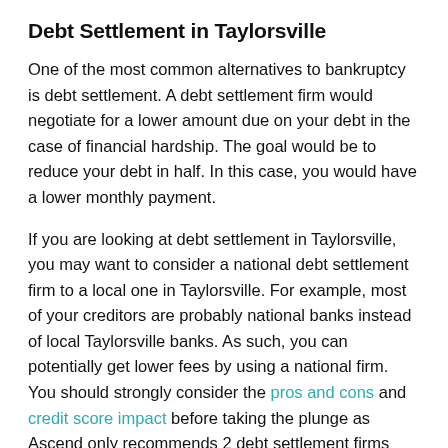Debt Settlement in Taylorsville
One of the most common alternatives to bankruptcy is debt settlement. A debt settlement firm would negotiate for a lower amount due on your debt in the case of financial hardship. The goal would be to reduce your debt in half. In this case, you would have a lower monthly payment.
If you are looking at debt settlement in Taylorsville, you may want to consider a national debt settlement firm to a local one in Taylorsville. For example, most of your creditors are probably national banks instead of local Taylorsville banks. As such, you can potentially get lower fees by using a national firm. You should strongly consider the pros and cons and credit score impact before taking the plunge as Ascend only recommends 2 debt settlement firms nationwide that both offer